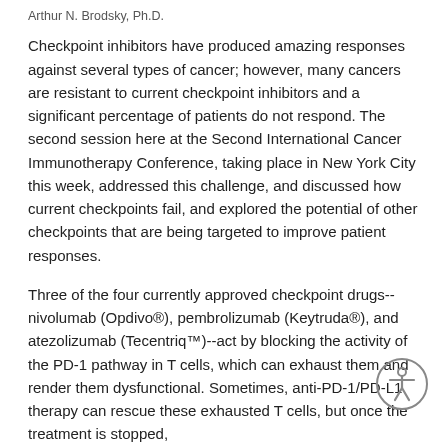Arthur N. Brodsky, Ph.D.
Checkpoint inhibitors have produced amazing responses against several types of cancer; however, many cancers are resistant to current checkpoint inhibitors and a significant percentage of patients do not respond. The second session here at the Second International Cancer Immunotherapy Conference, taking place in New York City this week, addressed this challenge, and discussed how current checkpoints fail, and explored the potential of other checkpoints that are being targeted to improve patient responses.
Three of the four currently approved checkpoint drugs--nivolumab (Opdivo®), pembrolizumab (Keytruda®), and atezolizumab (Tecentriq™)--act by blocking the activity of the PD-1 pathway in T cells, which can exhaust them and render them dysfunctional. Sometimes, anti-PD-1/PD-L1 therapy can rescue these exhausted T cells, but once the treatment is stopped,